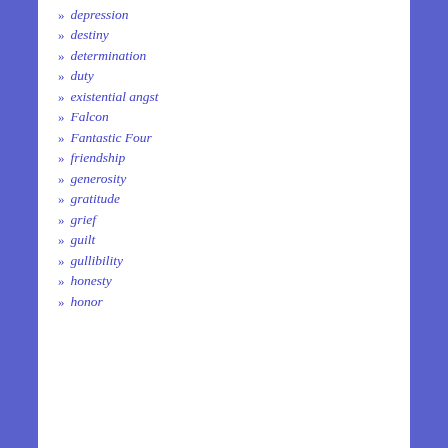depression
destiny
determination
duty
existential angst
Falcon
Fantastic Four
friendship
generosity
gratitude
grief
guilt
gullibility
honesty
honor